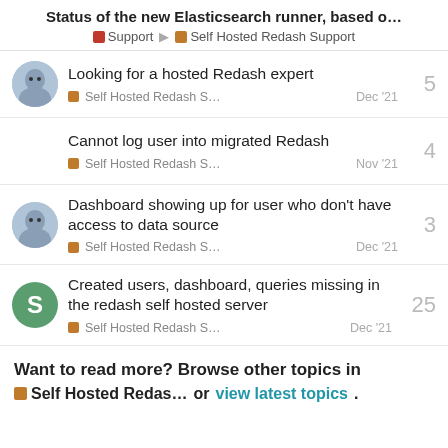Status of the new Elasticsearch runner, based o...
Support > Self Hosted Redash Support
Looking for a hosted Redash expert | Self Hosted Redash S... | Dec '21 | 5 replies
Cannot log user into migrated Redash | Self Hosted Redash S... | Nov '21 | 4 replies
Dashboard showing up for user who don't have access to data source | Self Hosted Redash S... | Dec '21 | 3 replies
Created users, dashboard, queries missing in the redash self hosted server | Self Hosted Redash S... | Dec '21 | 25 replies
Want to read more? Browse other topics in Self Hosted Redas... or view latest topics.